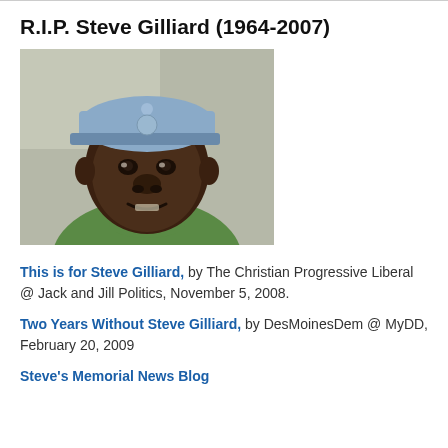R.I.P. Steve Gilliard (1964-2007)
[Figure (photo): Photograph of Steve Gilliard, a heavyset Black man wearing a light blue baseball cap and green turtleneck sweater, smiling slightly, photographed outdoors against a light stone/concrete background.]
This is for Steve Gilliard, by The Christian Progressive Liberal @ Jack and Jill Politics, November 5, 2008.
Two Years Without Steve Gilliard, by DesMoinesDem @ MyDD, February 20, 2009
Steve's Memorial News Blog